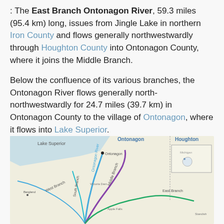: The East Branch Ontonagon River, 59.3 miles (95.4 km) long, issues from Jingle Lake in northern Iron County and flows generally northwestwardly through Houghton County into Ontonagon County, where it joins the Middle Branch.
Below the confluence of its various branches, the Ontonagon River flows generally north-northwestwardly for 24.7 miles (39.7 km) in Ontonagon County to the village of Ontonagon, where it flows into Lake Superior.
[Figure (map): Map of the Ontonagon River watershed showing Lake Superior to the north, with labeled branches: Ontonagon River (blue), West Branch, South Branch, Middle Branch (purple), East Branch (green/teal). County labels: Ontonagon, Houghton. Small inset map of Michigan in upper right.]